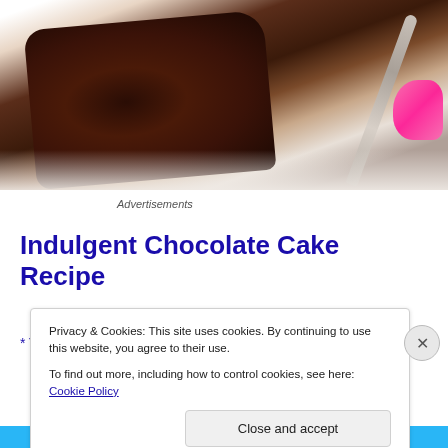[Figure (photo): Close-up photo of chocolate cake slice on a plate with a fork, with a pink cupcake/decoration visible on the right edge]
Advertisements
Indulgent Chocolate Cake Recipe
* Tweaked from Indulge the Baker's Best Chocolate Cake...
Privacy & Cookies: This site uses cookies. By continuing to use this website, you agree to their use.
To find out more, including how to control cookies, see here: Cookie Policy
Close and accept